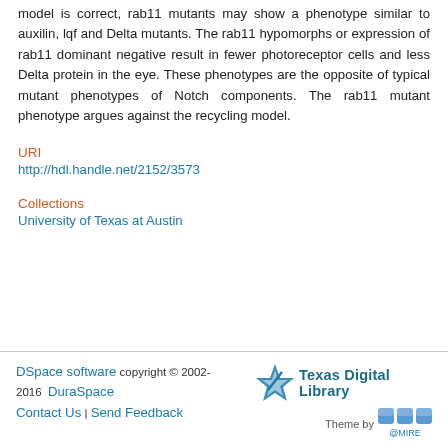model is correct, rab11 mutants may show a phenotype similar to auxilin, lqf and Delta mutants. The rab11 hypomorphs or expression of rab11 dominant negative result in fewer photoreceptor cells and less Delta protein in the eye. These phenotypes are the opposite of typical mutant phenotypes of Notch components. The rab11 mutant phenotype argues against the recycling model.
URI
http://hdl.handle.net/2152/3573
Collections
University of Texas at Austin
DSpace software copyright © 2002-2016  DuraSpace | Contact Us | Send Feedback | Texas Digital Library | Theme by @MIRE